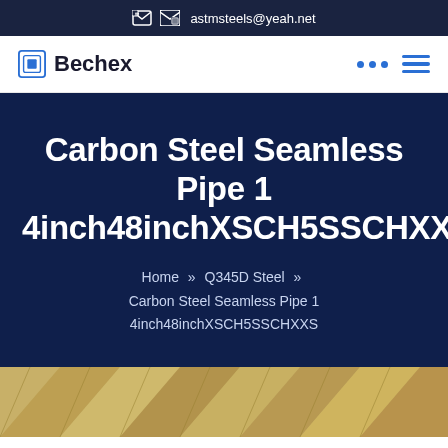astmsteels@yeah.net
Bechex
Carbon Steel Seamless Pipe 1 4inch48inchXSCH5SSCHXXS
Home » Q345D Steel » Carbon Steel Seamless Pipe 1 4inch48inchXSCH5SSCHXXS
[Figure (photo): Partial view of a metallic or architectural structure with geometric patterns, visible at the bottom of the page]